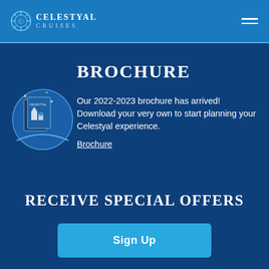CELESTYAL CRUISES
BROCHURE
[Figure (illustration): Celestyal Cruises 2022-2023 brochure booklet cover image showing a Greek island scene]
Our 2022-2023 brochure has arrived! Download your very own to start planning your Celestyal experience.
Brochure
RECEIVE SPECIAL OFFERS
Sign Up